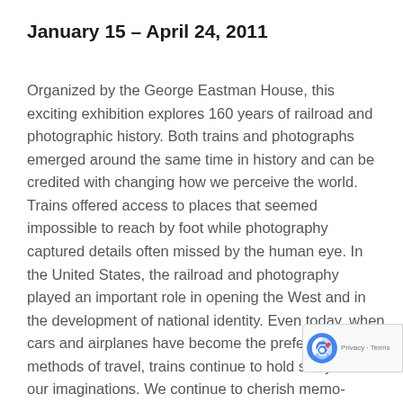January 15 – April 24, 2011
Organized by the George Eastman House, this exciting exhibition explores 160 years of railroad and photographic history. Both trains and photographs emerged around the same time in history and can be credited with changing how we perceive the world. Trains offered access to places that seemed impossible to reach by foot while photography captured details often missed by the human eye. In the United States, the railroad and photography played an important role in opening the West and in the development of national identity. Even today, when cars and airplanes have become the preferred methods of travel, trains continue to hold sway over our imaginations. We continue to cherish memories of playing with model railroads and of waiting on a platform for a glimpse of an oncoming train, hearing